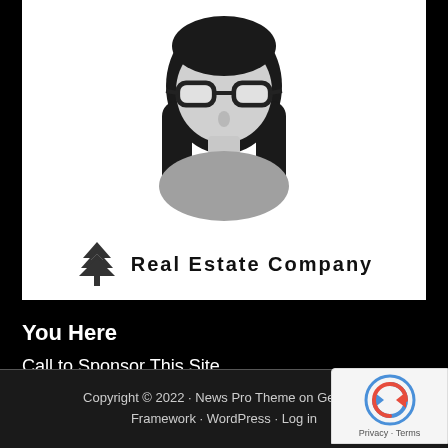[Figure (illustration): Generic female avatar placeholder with dark hair and glasses, wearing a gray top. Below the avatar is a tree logo icon and the text 'Real Estate Company'.]
You Here
Call to Sponsor This Site
Email to Sponsor This Site
Copyright © 2022 · News Pro Theme on Genesis Framework · WordPress · Log in